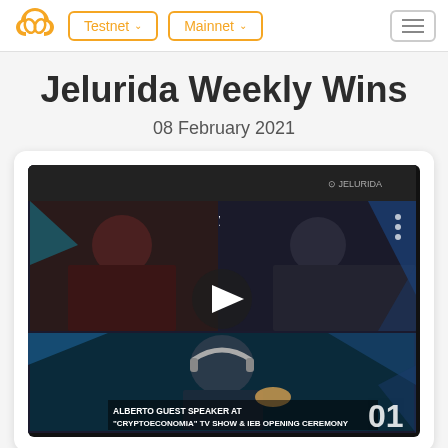Jelurida — Testnet | Mainnet navigation bar
Jelurida Weekly Wins
08 February 2021
[Figure (screenshot): Video thumbnail for 'Jelurida Weekly Wins 2021-02-08' showing three participants in a video call. Bottom overlay text reads: ALBERTO GUEST SPEAKER AT "CRYPTOECONOMIA" TV SHOW & IEB OPENING CEREMONY 01. A play button is centered on the thumbnail.]